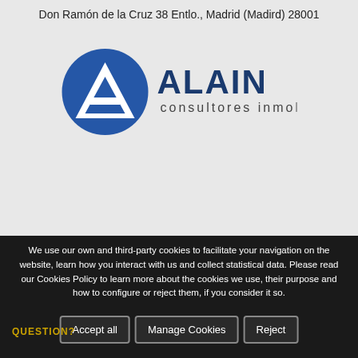Don Ramón de la Cruz 38 Entlo., Madrid (Madird) 28001
[Figure (logo): Alain Consultores Inmobiliarios logo: circular blue and white A symbol with 'ALAIN consultores inmobiliarios' text in dark blue]
We use our own and third-party cookies to facilitate your navigation on the website, learn how you interact with us and collect statistical data. Please read our Cookies Policy to learn more about the cookies we use, their purpose and how to configure or reject them, if you consider it so.
Accept all  Manage Cookies  Reject
QUESTION?